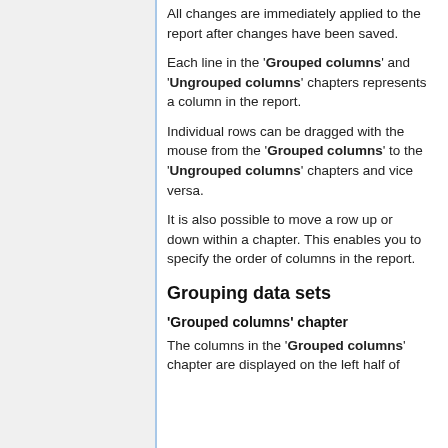All changes are immediately applied to the report after changes have been saved.
Each line in the 'Grouped columns' and 'Ungrouped columns' chapters represents a column in the report.
Individual rows can be dragged with the mouse from the 'Grouped columns' to the 'Ungrouped columns' chapters and vice versa.
It is also possible to move a row up or down within a chapter. This enables you to specify the order of columns in the report.
Grouping data sets
'Grouped columns' chapter
The columns in the 'Grouped columns' chapter are displayed on the left half of